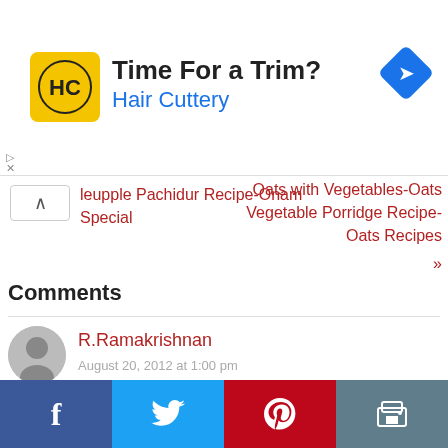[Figure (screenshot): Hair Cuttery advertisement banner with yellow logo, text 'Time For a Trim?' and 'Hair Cuttery' in blue, and a blue navigation diamond icon on the right]
leupple Pachidur Recipe-Onam Special
Oats with Vegetables-Oats Vegetable Porridge Recipe-Oats Recipes »
Comments
R.Ramakrishnan
August 20, 2012 at 1:00 pm
[Figure (infographic): Bottom social sharing bar with Facebook (blue), Twitter (light blue), Pinterest (red), and Print (gray) buttons]